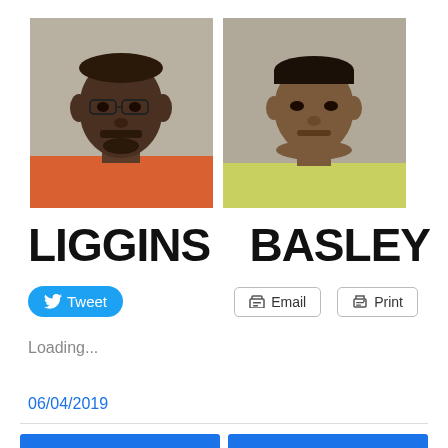[Figure (photo): Two mugshot photos side by side: left shows a man in an orange shirt against a gray background, right shows a woman in a yellow-green shirt against a gray background]
LIGGINS   BASLEY
[Figure (screenshot): Social media and utility buttons: Tweet (Twitter), Email, Print]
Loading...
06/04/2019